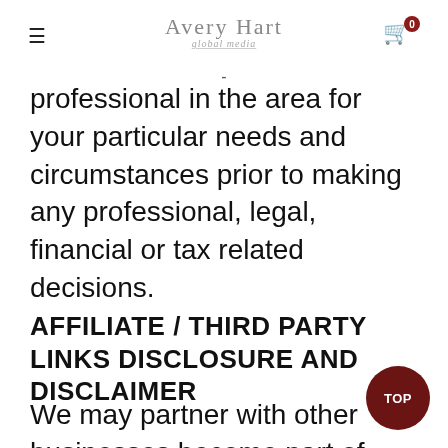Avery Hart
professional in the area for your particular needs and circumstances prior to making any professional, legal, financial or tax related decisions.
AFFILIATE / THIRD PARTY LINKS DISCLOSURE AND DISCLAIMER
We may partner with other businesses become part of different affiliate marketing